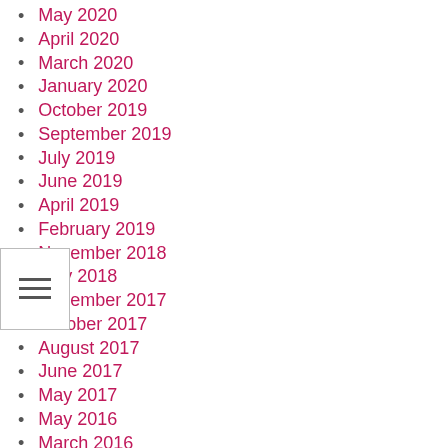May 2020
April 2020
March 2020
January 2020
October 2019
September 2019
July 2019
June 2019
April 2019
February 2019
November 2018
May 2018
December 2017
October 2017
August 2017
June 2017
May 2017
May 2016
March 2016